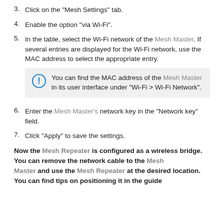3. Click on the "Mesh Settings" tab.
4. Enable the option "via Wi-Fi".
5. In the table, select the Wi-Fi network of the Mesh Master. If several entries are displayed for the Wi-Fi network, use the MAC address to select the appropriate entry.
You can find the MAC address of the Mesh Master in its user interface under "Wi-Fi > Wi-Fi Network".
6. Enter the Mesh Master's network key in the "Network key" field.
7. Click "Apply" to save the settings.
Now the Mesh Repeater is configured as a wireless bridge. You can remove the network cable to the Mesh Master and use the Mesh Repeater at the desired location. You can find tips on positioning it in the guide